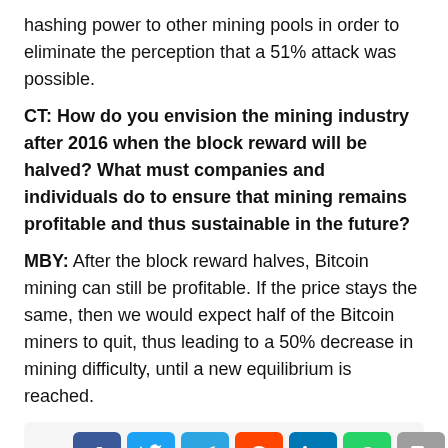hashing power to other mining pools in order to eliminate the perception that a 51% attack was possible.
CT: How do you envision the mining industry after 2016 when the block reward will be halved? What must companies and individuals do to ensure that mining remains profitable and thus sustainable in the future?
MBY: After the block reward halves, Bitcoin mining can still be profitable. If the price stays the same, then we would expect half of the Bitcoin miners to quit, thus leading to a 50% decrease in mining difficulty, until a new equilibrium is reached.
[Figure (infographic): Social media sharing buttons row: Facebook, Twitter, Telegram, Reddit, LinkedIn, WhatsApp, Copy, Scroll-to-top]
MBY: